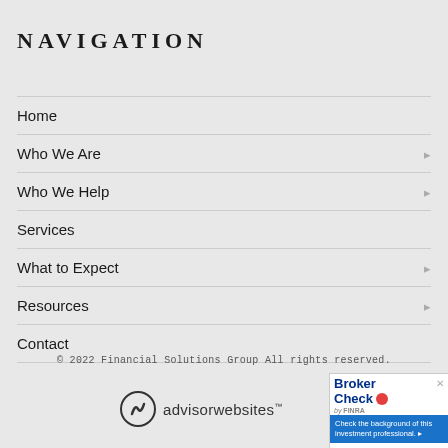NAVIGATION
Home
Who We Are
Who We Help
Services
What to Expect
Resources
Contact
© 2022 Financial Solutions Group All rights reserved.
[Figure (logo): advisorwebsites logo with circular icon and text]
[Figure (other): BrokerCheck by FINRA badge with text: Check the background of this investment professional.]